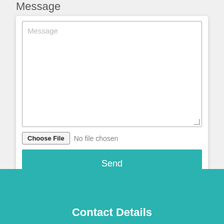Message
[Figure (screenshot): A message text area form field with placeholder text 'Message', a 'Choose File' button with 'No file chosen' text, and a teal 'Send' button]
Contact Details